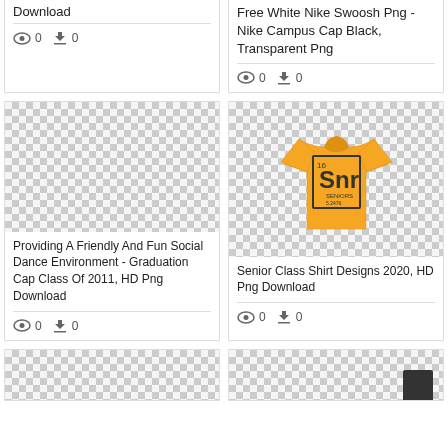Download
👁 0  ⬇ 0
Free White Nike Swoosh Png - Nike Campus Cap Black, Transparent Png
👁 0  ⬇ 0
[Figure (photo): Checkerboard transparent placeholder image]
Providing A Friendly And Fun Social Dance Environment - Graduation Cap Class Of 2011, HD Png Download
👁 0  ⬇ 0
[Figure (photo): Orange senior class t-shirt with periodic table element style 'Snr' graphic]
Senior Class Shirt Designs 2020, HD Png Download
👁 0  ⬇ 0
[Figure (photo): Partial checkerboard transparent placeholder]
[Figure (photo): Partial checkerboard transparent placeholder with dark object visible]